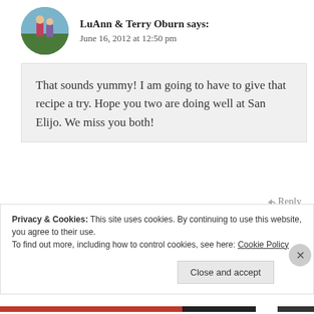[Figure (photo): Circular avatar photo of two hikers outdoors, used for LuAnn & Terry Oburn comment]
LuAnn & Terry Oburn says:
June 16, 2012 at 12:50 pm
That sounds yummy! I am going to have to give that recipe a try. Hope you two are doing well at San Elijo. We miss you both!
Reply
[Figure (photo): Circular avatar photo of an elderly woman, used for mountainmae comment]
mountainmae says:
June 16, 2012 at 9:01 pm
Privacy & Cookies: This site uses cookies. By continuing to use this website, you agree to their use.
To find out more, including how to control cookies, see here: Cookie Policy
Close and accept